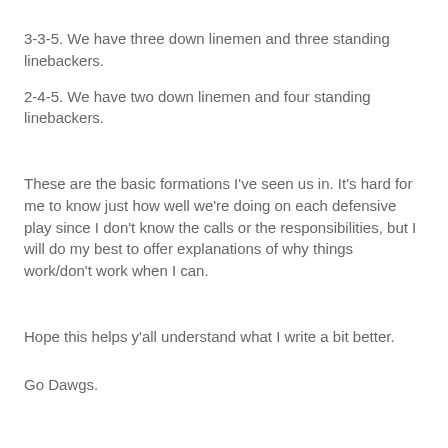3-3-5. We have three down linemen and three standing linebackers.
2-4-5. We have two down linemen and four standing linebackers.
These are the basic formations I've seen us in. It's hard for me to know just how well we're doing on each defensive play since I don't know the calls or the responsibilities, but I will do my best to offer explanations of why things work/don't work when I can.
Hope this helps y'all understand what I write a bit better.
Go Dawgs.